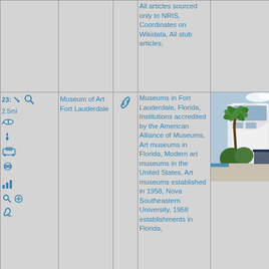| Icons/Nav | Name | Link | Categories | Photo |
| --- | --- | --- | --- | --- |
|  |  |  | All articles sourced only to NRIS, Coordinates on Wikidata, All stub articles, |  |
| 23: ↘ 2.5mi 🚁 ↗ 🚗 🌀 📊 🔍 ⊕ 🔗 | Museum of Art Fort Lauderdale | 🔗 | Museums in Fort Lauderdale, Florida, Institutions accredited by the American Alliance of Museums, Art museums in Florida, Modern art museums in the United States, Art museums established in 1958, Nova Southeastern University, 1958 establishments in Florida, Museums... | [photo of Museum of Art Fort Lauderdale building] |